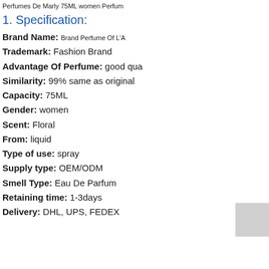Perfumes De Marly 75ML women Perfum
1. Specification:
Brand Name:   Brand Perfume Of  L'A
Trademark: Fashion Brand
Advantage Of Perfume: good qua
Similarity: 99% same as original
Capacity: 75ML
Gender: women
Scent: Floral
From: liquid
Type of use: spray
Supply type: OEM/ODM
Smell Type: Eau De Parfum
Retaining time: 1-3days
Delivery: DHL, UPS, FEDEX